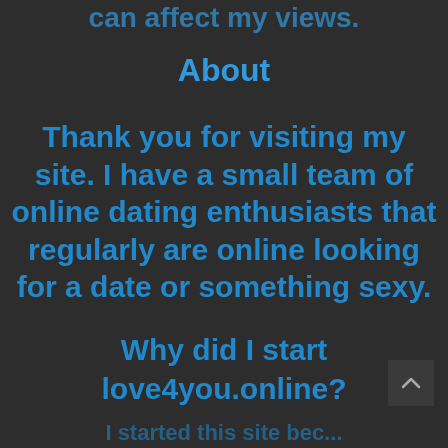can affect my views.
About
Thank you for visiting my site. I have a small team of online dating enthusiasts that regularly are online looking for a date or something sexy.
Why did I start love4you.online?
(partially visible bottom text)